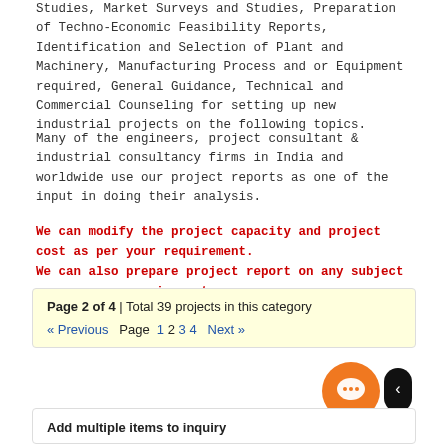Studies, Market Surveys and Studies, Preparation of Techno-Economic Feasibility Reports, Identification and Selection of Plant and Machinery, Manufacturing Process and or Equipment required, General Guidance, Technical and Commercial Counseling for setting up new industrial projects on the following topics.
Many of the engineers, project consultant & industrial consultancy firms in India and worldwide use our project reports as one of the input in doing their analysis.
We can modify the project capacity and project cost as per your requirement.
We can also prepare project report on any subject as per your requirement.
Page 2 of 4 | Total 39 projects in this category
« Previous  Page 1 2 3 4  Next »
Add multiple items to inquiry